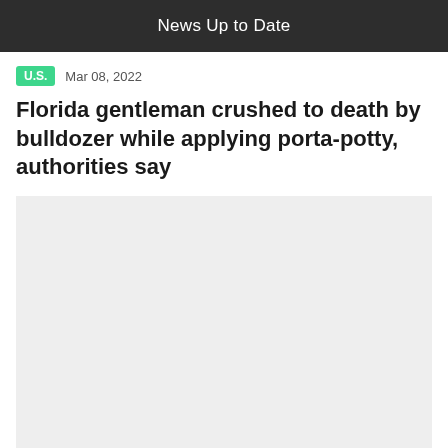News Up to Date
U.S.   Mar 08, 2022
Florida gentleman crushed to death by bulldozer while applying porta-potty, authorities say
[Figure (photo): Light gray image placeholder]